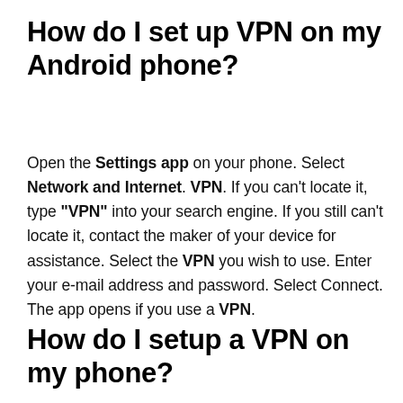How do I set up VPN on my Android phone?
Open the Settings app on your phone. Select Network and Internet. VPN. If you can't locate it, type “VPN” into your search engine. If you still can't locate it, contact the maker of your device for assistance. Select the VPN you wish to use. Enter your e-mail address and password. Select Connect. The app opens if you use a VPN.
How do I setup a VPN on my phone?